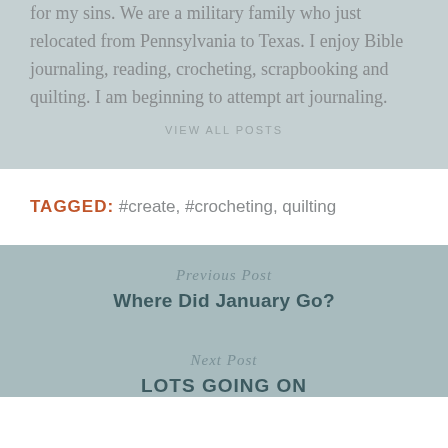for my sins. We are a military family who just relocated from Pennsylvania to Texas. I enjoy Bible journaling, reading, crocheting, scrapbooking and quilting. I am beginning to attempt art journaling.
VIEW ALL POSTS
TAGGED: #create, #crocheting, quilting
Previous Post
Where Did January Go?
Next Post
LOTS GOING ON